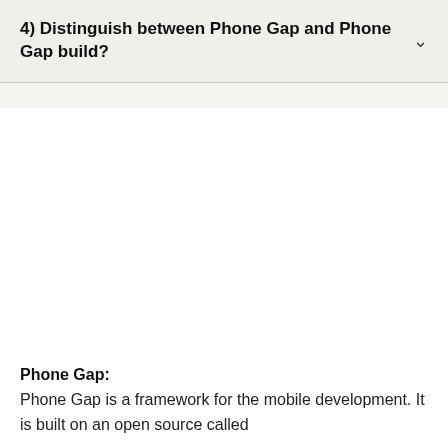4) Distinguish between Phone Gap and Phone Gap build?
Phone Gap: Phone Gap is a framework for the mobile development. It is built on an open source called